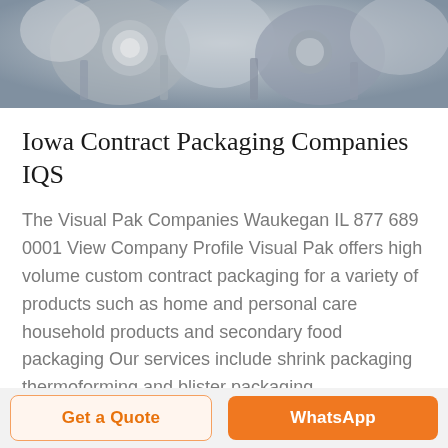[Figure (photo): Close-up photo of industrial metallic packaging machinery components, silver/chrome tones]
Iowa Contract Packaging Companies IQS
The Visual Pak Companies Waukegan IL 877 689 0001 View Company Profile Visual Pak offers high volume custom contract packaging for a variety of products such as home and personal care household products and secondary food packaging Our services include shrink packaging thermoforming and blister packaging
[Figure (photo): Partial photo of a bright interior space with large windows, light tones]
Get a Quote   WhatsApp